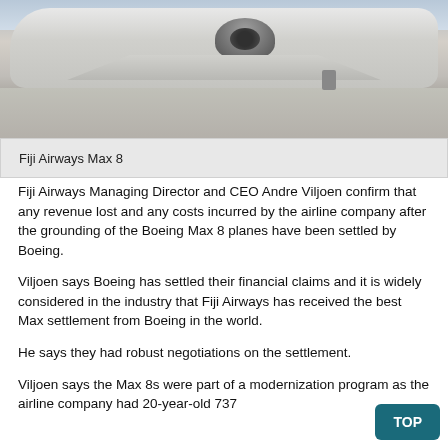[Figure (photo): Photo of a Fiji Airways Boeing Max 8 aircraft on a tarmac, viewed from the front-side showing the engine and landing gear.]
Fiji Airways Max 8
Fiji Airways Managing Director and CEO Andre Viljoen confirm that any revenue lost and any costs incurred by the airline company after the grounding of the Boeing Max 8 planes have been settled by Boeing.
Viljoen says Boeing has settled their financial claims and it is widely considered in the industry that Fiji Airways has received the best Max settlement from Boeing in the world.
He says they had robust negotiations on the settlement.
Viljoen says the Max 8s were part of a modernization program as the airline company had 20-year-old 737